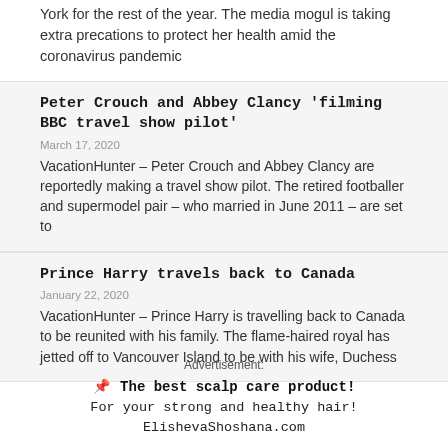York for the rest of the year. The media mogul is taking extra precations to protect her health amid the coronavirus pandemic
Peter Crouch and Abbey Clancy ‘filming BBC travel show pilot’
March 17, 2020
VacationHunter – Peter Crouch and Abbey Clancy are reportedly making a travel show pilot. The retired footballer and supermodel pair – who married in June 2011 – are set to
Prince Harry travels back to Canada
January 22, 2020
VacationHunter – Prince Harry is travelling back to Canada to be reunited with his family. The flame-haired royal has jetted off to Vancouver Island to be with his wife, Duchess
Advertisement:
📌 The best scalp care product!
For your strong and healthy hair!
ElishevaShoshana.com